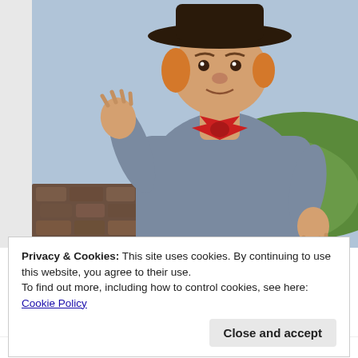[Figure (photo): A clay or stop-motion animation figurine of a boy character with orange/blonde hair, wearing a dark wide-brimmed hat, a blue-grey trench coat or smock, and a red bow tie or neckerchief. The figure has one arm raised in a waving gesture. Background shows a light blue sky and a green hill with a stone wall.]
Privacy & Cookies: This site uses cookies. By continuing to use this website, you agree to their use.
To find out more, including how to control cookies, see here: Cookie Policy
Close and accept
as in 2016, but there have been a few television